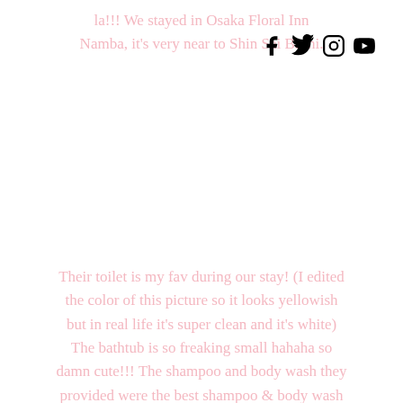la!!! We stayed in Osaka Floral Inn Namba, it's very near to Shin Sai Bashi.
[Figure (other): Social media icons: Facebook, Twitter, Instagram, YouTube]
Their toilet is my fav during our stay! (I edited the color of this picture so it looks yellowish but in real life it's super clean and it's white) The bathtub is so freaking small hahaha so damn cute!!! The shampoo and body wash they provided were the best shampoo & body wash